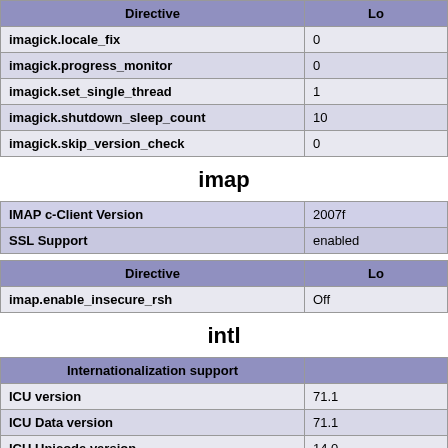| Directive | Lo |
| --- | --- |
| imagick.locale_fix | 0 |
| imagick.progress_monitor | 0 |
| imagick.set_single_thread | 1 |
| imagick.shutdown_sleep_count | 10 |
| imagick.skip_version_check | 0 |
imap
| IMAP c-Client Version | 2007f |
| SSL Support | enabled |
| Directive | Lo |
| --- | --- |
| imap.enable_insecure_rsh | Off |
intl
| Internationalization support |  |
| --- | --- |
| ICU version | 71.1 |
| ICU Data version | 71.1 |
| ICU Unicode version | 14.0 |